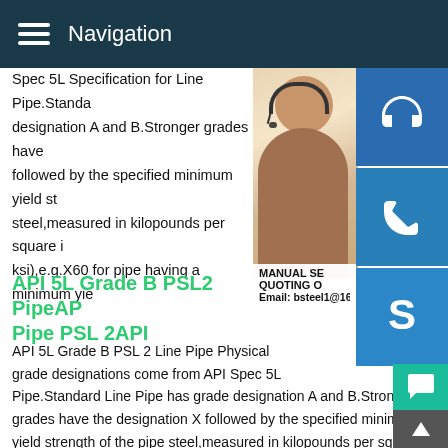Navigation
Spec 5L Specification for Line Pipe.Standard grade designation A and B.Stronger grades have followed by the specified minimum yield st steel,measured in kilopounds per square i ksi),e.g.X60 for pipe having a minimum yie
[Figure (photo): Customer service representative with headset, smiling, with blue icon buttons for headset, phone, and Skype on the right side, and contact overlay showing MANUAL SE, QUOTING O, Email: bsteel1@163.com]
API 5L Grade B PSL2 PipeAPI Pipe PSL 2API
API 5L Grade B PSL 2 Line Pipe Physical grade designations come from API Spec 5L Pipe.Standard Line Pipe has grade designation A and B.Stronger grades have the designation X followed by the specified minimum yield strength of the pipe steel,measured in kilopounds per square inch (abbreviated ksi),e.g.X60 for pipe having a minimum yield strength API 5L DSAW Pipe,DSAW Spiral Welded Line Pipe material API 5L Grade B,x42,x46,x52,X56,x56,x60,x70 Carbon